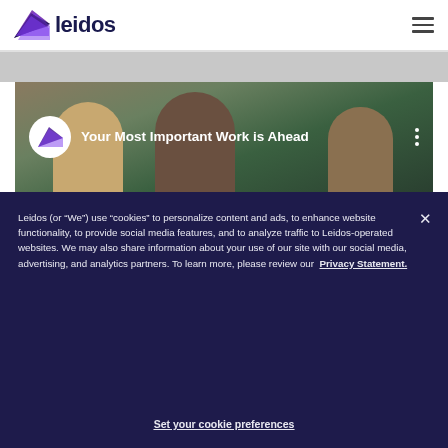[Figure (logo): Leidos logo with purple/dark triangle arrow and 'leidos' text in dark navy]
[Figure (screenshot): Leidos video thumbnail showing faces of people with text 'Your Most Important Work is Ahead' and Leidos circular logo on dark background]
Leidos (or “We”) use “cookies” to personalize content and ads, to enhance website functionality, to provide social media features, and to analyze traffic to Leidos-operated websites. We may also share information about your use of our site with our social media, advertising, and analytics partners. To learn more, please review our Privacy Statement.
Set your cookie preferences